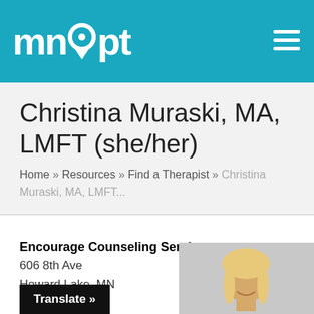mnadopt
Christina Muraski, MA, LMFT (she/her)
Home » Resources » Find a Therapist » Christina Muraski, MA, LMFT...
Encourage Counseling Services
606 8th Ave
Howard Lake, MN
55349
[Figure (photo): Professional headshot of Christina Muraski, a blonde woman smiling]
Translate »